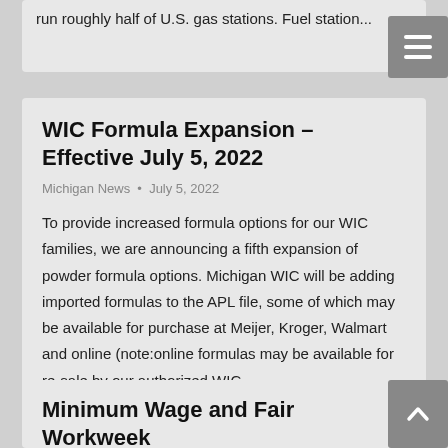run roughly half of U.S. gas stations. Fuel station...
WIC Formula Expansion – Effective July 5, 2022
Michigan News • July 5, 2022
To provide increased formula options for our WIC families, we are announcing a fifth expansion of powder formula options. Michigan WIC will be adding imported formulas to the APL file, some of which may be available for purchase at Meijer, Kroger, Walmart and online (note:online formulas may be available for re-sale by our authorized WIC...
Minimum Wage and Fair Workweek